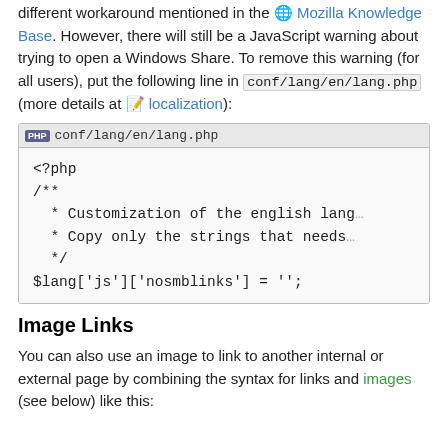different workaround mentioned in the Mozilla Knowledge Base. However, there will still be a JavaScript warning about trying to open a Windows Share. To remove this warning (for all users), put the following line in conf/lang/en/lang.php (more details at localization):
[Figure (screenshot): Code box with tab labeled 'conf/lang/en/lang.php' containing PHP code: <?php /** * Customization of the english lang * Copy only the strings that needs * / $lang['js']['nosmblinks'] = '';]
Image Links
You can also use an image to link to another internal or external page by combining the syntax for links and images (see below) like this: